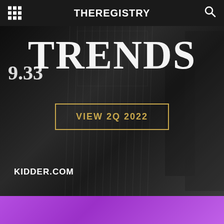THEREGISTRY
[Figure (screenshot): Dark background hero image showing stock market ticker display with 'TRENDS' text overlay, number '9.33' visible on left side, and a gold-bordered button reading 'VIEW 2Q 2022'. 'KIDDER.COM' text at bottom left. Vertical line patterns overlay the dark background.]
[Figure (photo): Purple/violet gradient background section at bottom of page]